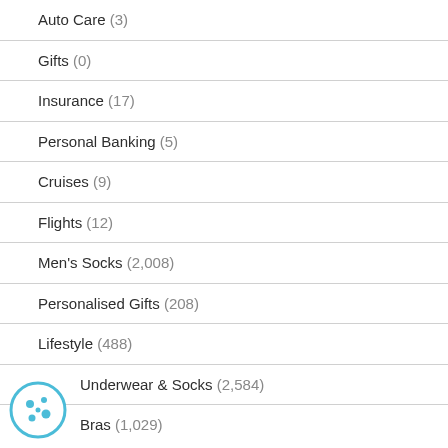Auto Care (3)
Gifts (0)
Insurance (17)
Personal Banking (5)
Cruises (9)
Flights (12)
Men's Socks (2,008)
Personalised Gifts (208)
Lifestyle (488)
Underwear & Socks (2,584)
Bras (1,029)
[Figure (illustration): Cookie/settings icon — circular icon with blue border and dots]